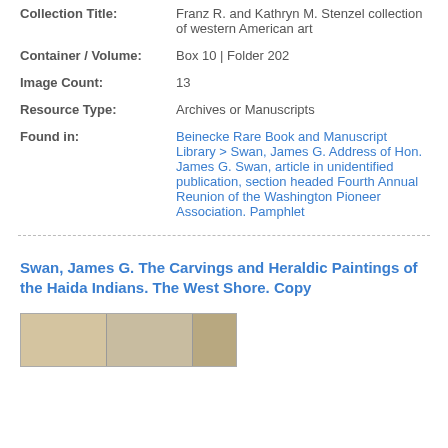Collection Title: Franz R. and Kathryn M. Stenzel collection of western American art
Container / Volume: Box 10 | Folder 202
Image Count: 13
Resource Type: Archives or Manuscripts
Found in: Beinecke Rare Book and Manuscript Library > Swan, James G. Address of Hon. James G. Swan, article in unidentified publication, section headed Fourth Annual Reunion of the Washington Pioneer Association. Pamphlet
Swan, James G. The Carvings and Heraldic Paintings of the Haida Indians. The West Shore. Copy
[Figure (photo): Thumbnail image of a document page, showing a historical manuscript or printed page in tan/brown tones, divided into sections.]